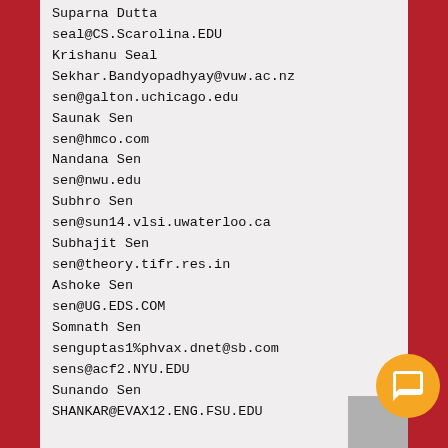Suparna Dutta
seal@CS.Scarolina.EDU
Krishanu Seal
Sekhar.Bandyopadhyay@vuw.ac.nz
sen@galton.uchicago.edu
Saunak Sen
sen@hmco.com
Nandana Sen
sen@nwu.edu
Subhro Sen
sen@sun14.vlsi.uwaterloo.ca
Subhajit Sen
sen@theory.tifr.res.in
Ashoke Sen
sen@UG.EDS.COM
Somnath Sen
senguptas1%phvax.dnet@sb.com
sens@acf2.NYU.EDU
Sunando Sen
SHANKAR@EVAX12.ENG.FSU.EDU